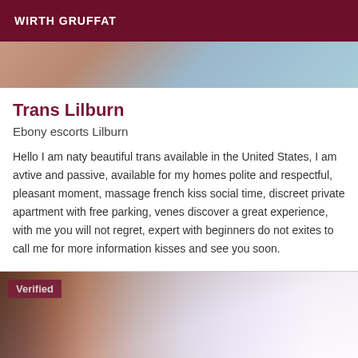WIRTH GRUFFAT
[Figure (photo): Close-up photo of a person, partially visible at the top of the card]
Trans Lilburn
Ebony escorts Lilburn
Hello I am naty beautiful trans available in the United States, I am avtive and passive, available for my homes polite and respectful, pleasant moment, massage french kiss social time, discreet private apartment with free parking, venes discover a great experience, with me you will not regret, expert with beginners do not exites to call me for more information kisses and see you soon.
[Figure (photo): Photo showing a doorway with brick wall on the left and bright light/glare on the right, with a 'Verified' badge overlay in the top-left corner]